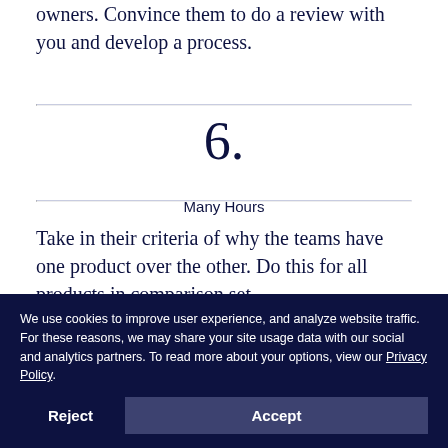owners. Convince them to do a review with you and develop a process.
6.
Many Hours
Take in their criteria of why the teams have one product over the other. Do this for all products in comparison set.
7.
Many Hours
We use cookies to improve user experience, and analyze website traffic. For these reasons, we may share your site usage data with our social and analytics partners. To read more about your options, view our Privacy Policy.